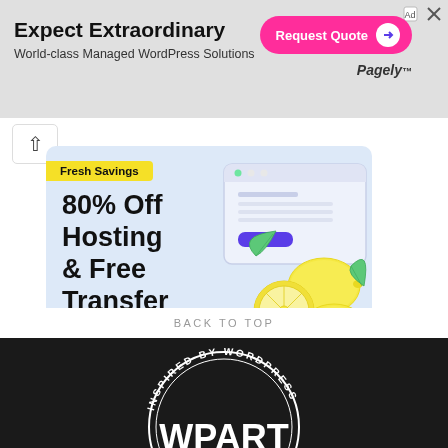[Figure (screenshot): Top banner advertisement for Pagely - 'Expect Extraordinary, World-class Managed WordPress Solutions' with a pink 'Request Quote' button and Pagely logo. Has ad close/flag icons in top right corner.]
[Figure (screenshot): Web hosting advertisement with light blue background showing '80% Off Hosting & Free Transfer' with a 'Fresh Savings' yellow badge, a START NOW purple button, and an illustration of lemons with a browser window mockup.]
BACK TO TOP
[Figure (logo): WPart circular logo on dark background with text 'INSPIRED BY WORDPRESS' around the top arc and 'WPART' in large white letters at the bottom.]